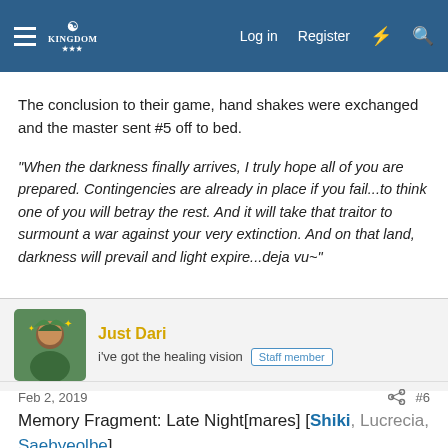Log in  Register
The conclusion to their game, hand shakes were exchanged and the master sent #5 off to bed.
"When the darkness finally arrives, I truly hope all of you are prepared. Contingencies are already in place if you fail...to think one of you will betray the rest. And it will take that traitor to surmount a war against your very extinction. And on that land, darkness will prevail and light expire...deja vu~"
Just Dari
i've got the healing vision   Staff member
Feb 2, 2019    #6
Memory Fragment: Late Night[mares] [Shiki, Lucrecia, Saebyeolbe]
Location: The Dorms; Shiki's Room